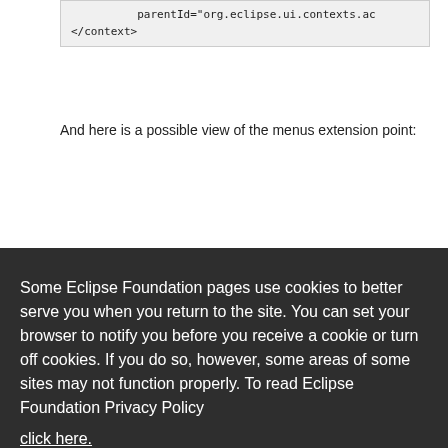parentId="org.eclipse.ui.contexts.ac
</context>
And here is a possible view of the menus extension point:
Some Eclipse Foundation pages use cookies to better serve you when you return to the site. You can set your browser to notify you before you receive a cookie or turn off cookies. If you do so, however, some areas of some sites may not function properly. To read Eclipse Foundation Privacy Policy
click here.
Decline
Allow cookies
</visibleWhen>